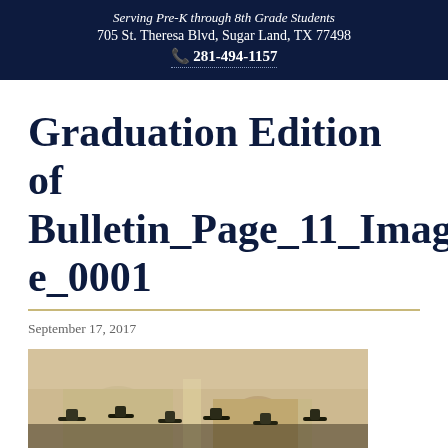Serving Pre-K through 8th Grade Students
705 St. Theresa Blvd, Sugar Land, TX 77498
☎ 281-494-1157
Graduation Edition of Bulletin_Page_11_Image_0001
September 17, 2017
[Figure (photo): Photograph of a graduation ceremony inside a building with arched architecture, showing people in graduation caps and gowns]